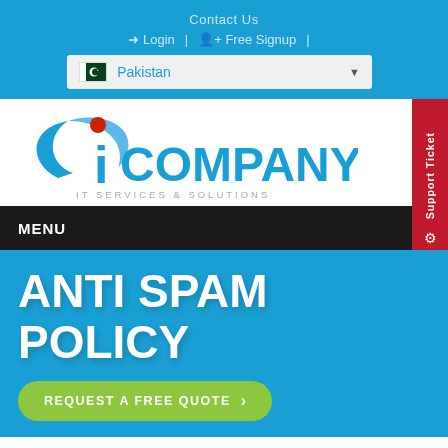Contact Us
Login | Free Signup |
[Figure (screenshot): Pakistan country selector dropdown with flag]
[Figure (logo): iCompany IT Services & Solutions logo with blue swoosh and red dot]
MENU
ANTI SPAM POLICY
REQUEST A FREE QUOTE